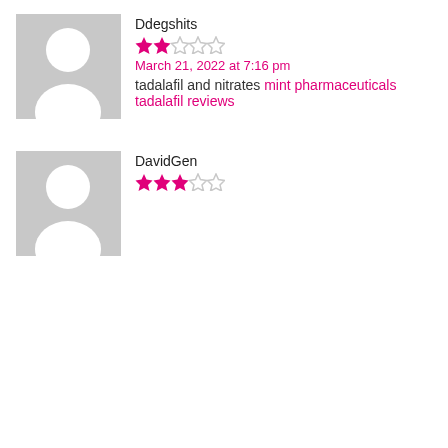[Figure (photo): Gray placeholder avatar image for user Ddegshits]
Ddegshits
[Figure (other): 2 out of 5 stars rating]
March 21, 2022 at 7:16 pm
tadalafil and nitrates mint pharmaceuticals tadalafil reviews
[Figure (photo): Gray placeholder avatar image for user DavidGen]
DavidGen
[Figure (other): 3 out of 5 stars rating]